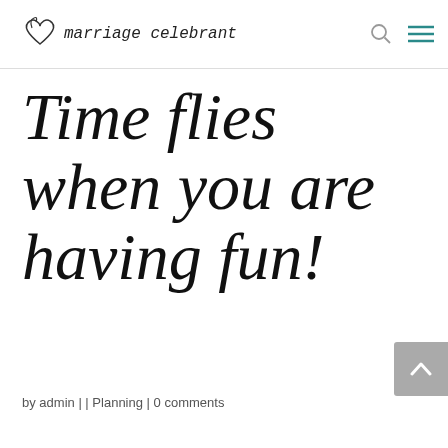marriage celebrant
Time flies when you are having fun!
by admin | | Planning | 0 comments